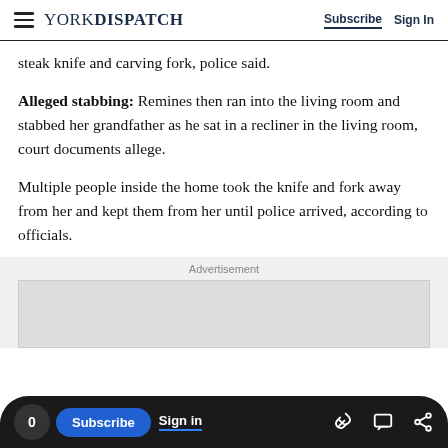YORK DISPATCH | Subscribe | Sign In
steak knife and carving fork, police said.
Alleged stabbing: Remines then ran into the living room and stabbed her grandfather as he sat in a recliner in the living room, court documents allege.
Multiple people inside the home took the knife and fork away from her and kept them from her until police arrived, according to officials.
Advertisement
[Figure (other): Empty advertisement placeholder box]
0 | Subscribe | Sign in